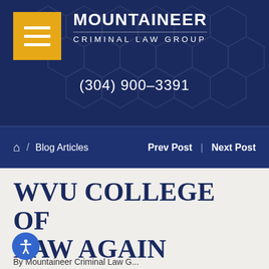MOUNTAINEER CRIMINAL LAW GROUP
(304) 900-3391
Home / Blog Articles   Prev Post | Next Post
WVU COLLEGE OF LAW AGAIN RANKED AS TOP-100 SCHOOL
By Mountaineer Criminal Law G...